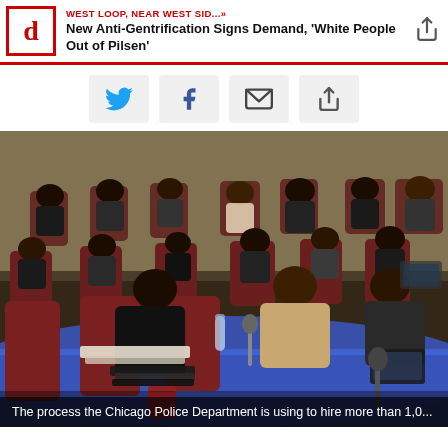WEST LOOP, NEAR WEST SID...»
New Anti-Gentrification Signs Demand, 'White People Out of Pilsen'
[Figure (photo): A meeting room scene showing people seated at a curved blue-covered table and in rows of maroon chairs. The setting appears to be a formal government or police department meeting/hearing room.]
The process the Chicago Police Department is using to hire more than 1,0...